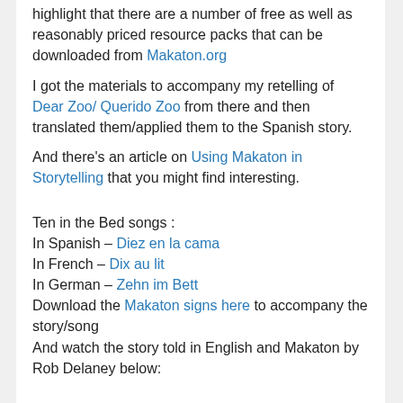highlight that there are a number of free as well as reasonably priced resource packs that can be downloaded from Makaton.org
I got the materials to accompany my retelling of Dear Zoo/ Querido Zoo from there and then translated them/applied them to the Spanish story.
And there's an article on Using Makaton in Storytelling that you might find interesting.
Ten in the Bed songs : In Spanish – Diez en la cama In French – Dix au lit In German – Zehn im Bett Download the Makaton signs here to accompany the story/song And watch the story told in English and Makaton by Rob Delaney below: